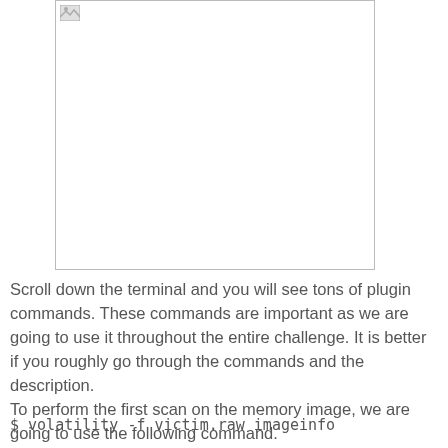[Figure (screenshot): A screenshot or terminal output image shown in a bordered white box at the top of the page.]
Scroll down the terminal and you will see tons of plugin commands. These commands are important as we are going to use it throughout the entire challenge. It is better if you roughly go through the commands and the description. To perform the first scan on the memory image, we are going to use the following command.
$ volatility -f victim.raw imageinfo